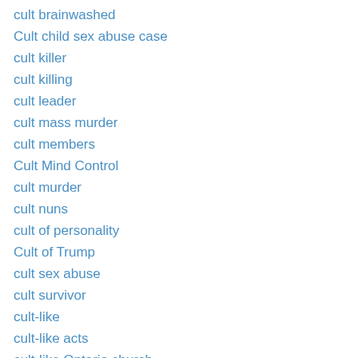cult brainwashed
Cult child sex abuse case
cult killer
cult killing
cult leader
cult mass murder
cult members
Cult Mind Control
cult murder
cult nuns
cult of personality
Cult of Trump
cult sex abuse
cult survivor
cult-like
cult-like acts
cult-like Ontario church
cults
Cults & Conspiracies
Cults and Totalitarian Systems